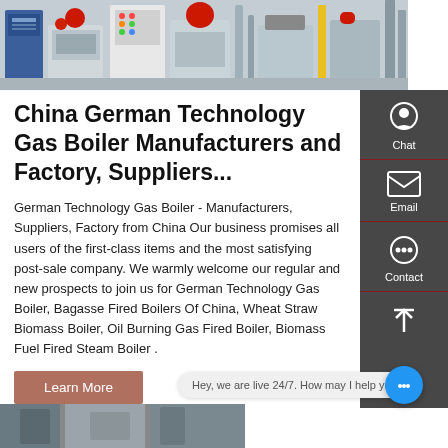[Figure (photo): Industrial gas boilers in a factory setting, multiple units with red burner heads, control panels, pipes and fittings on a white floor]
China German Technology Gas Boiler Manufacturers and Factory, Suppliers...
German Technology Gas Boiler - Manufacturers, Suppliers, Factory from China Our business promises all users of the first-class items and the most satisfying post-sale company. We warmly welcome our regular and new prospects to join us for German Technology Gas Boiler, Bagasse Fired Boilers Of China, Wheat Straw Biomass Boiler, Oil Burning Gas Fired Boiler, Biomass Fuel Fired Steam Boiler .
Learn More
Hey, we are live 24/7. How may I help you?
[Figure (photo): Partial view of industrial boiler equipment at bottom of page]